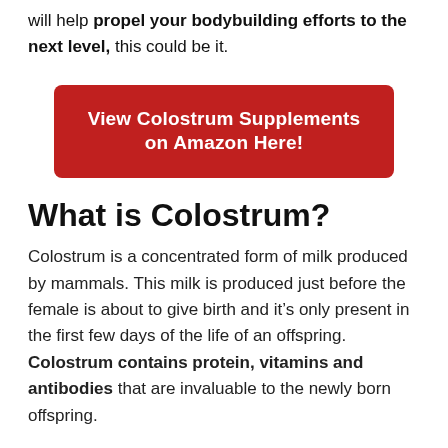will help propel your bodybuilding efforts to the next level, this could be it.
[Figure (other): Red CTA button: 'View Colostrum Supplements on Amazon Here!']
What is Colostrum?
Colostrum is a concentrated form of milk produced by mammals. This milk is produced just before the female is about to give birth and it’s only present in the first few days of the life of an offspring. Colostrum contains protein, vitamins and antibodies that are invaluable to the newly born offspring.